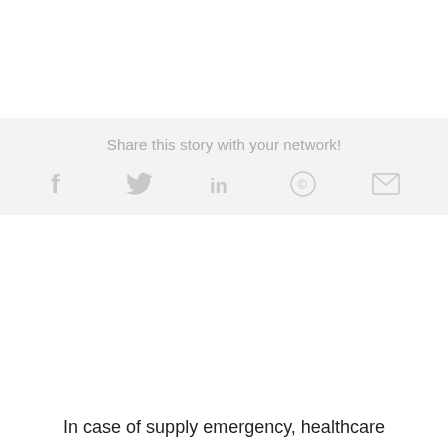Share this story with your network!
[Figure (infographic): Row of social sharing icons: Facebook (f), Twitter (bird), LinkedIn (in), WhatsApp (circle with phone), Email (envelope)]
In case of supply emergency, healthcare